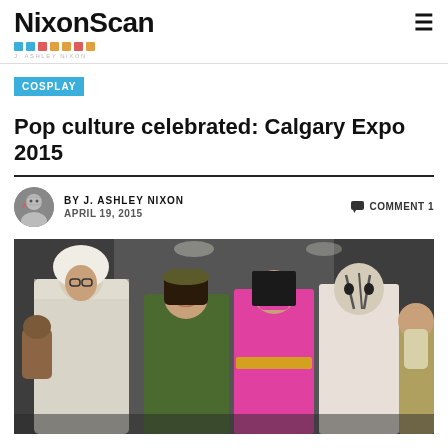NixonScan
COSPLAY
Pop culture celebrated: Calgary Expo 2015
BY J. ASHLEY NIXON   APRIL 19, 2015    COMMENT 1
[Figure (photo): Group photo of cosplayers at Calgary Expo 2015, including characters from Assassin's Creed, Mortal Kombat (Jade and Mileena), and other fantasy/game costumes. Five costumed individuals posed together in an indoor convention setting.]